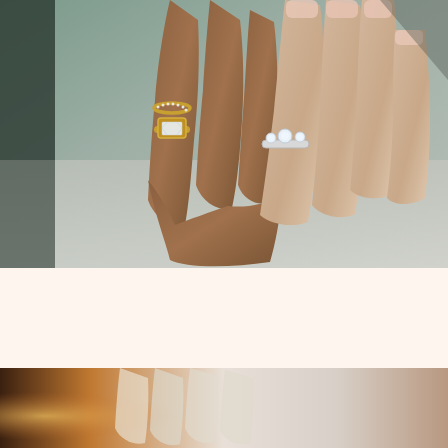[Figure (photo): Close-up photograph of two hands (one with light skin, one with medium-dark skin) resting against a soft gray surface. The medium-dark hand wears a gold eternity band with small diamonds, a gold bezel-set emerald-cut diamond ring, and a silver band with three round diamonds. The light-skinned hand shows a neutral-pink manicure.]
[Figure (photo): Partial photograph at the bottom of the page showing the lower portion of hands against a warm brown/orange background, cropped.]